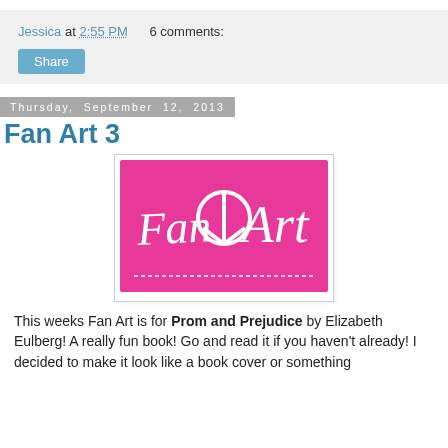Jessica at 2:55 PM   6 comments:
Share
Thursday, September 12, 2013
Fan Art 3
[Figure (illustration): Pink rectangular image with white handwritten-style text reading 'Fan Art' with a peace sign replacing the letter O, and a white dashed line near the bottom.]
This weeks Fan Art is for Prom and Prejudice by Elizabeth Eulberg! A really fun book! Go and read it if you haven't already! I decided to make it look like a book cover or something